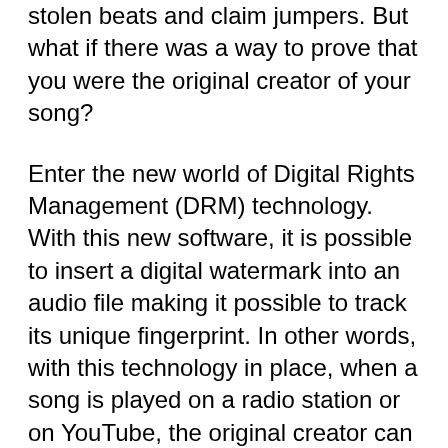stolen beats and claim jumpers. But what if there was a way to prove that you were the original creator of your song?
Enter the new world of Digital Rights Management (DRM) technology. With this new software, it is possible to insert a digital watermark into an audio file making it possible to track its unique fingerprint. In other words, with this technology in place, when a song is played on a radio station or on YouTube, the original creator can be identified.
How does it work? The technology is similar to how engineers convert an analog signal into a digital one. By identifying specific data points within a piece of music, the system is able to identify these points as unique markers in a digital